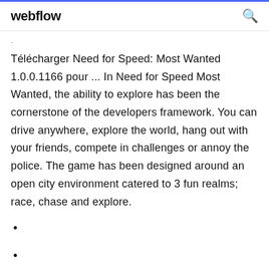webflow
Télécharger Need for Speed: Most Wanted 1.0.0.1166 pour ... In Need for Speed Most Wanted, the ability to explore has been the cornerstone of the developers framework. You can drive anywhere, explore the world, hang out with your friends, compete in challenges or annoy the police. The game has been designed around an open city environment catered to 3 fun realms; race, chase and explore.